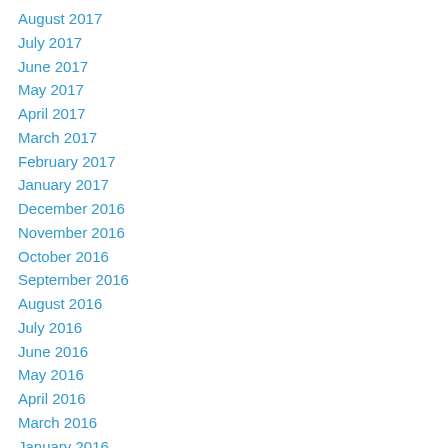August 2017
July 2017
June 2017
May 2017
April 2017
March 2017
February 2017
January 2017
December 2016
November 2016
October 2016
September 2016
August 2016
July 2016
June 2016
May 2016
April 2016
March 2016
January 2016
December 2015